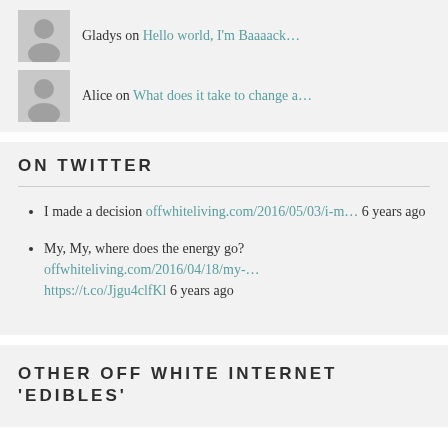Gladys on Hello world, I'm Baaaack...
Alice on What does it take to change a...
ON TWITTER
I made a decision offwhiteliving.com/2016/05/03/i-m... 6 years ago
My, My, where does the energy go? offwhiteliving.com/2016/04/18/my-... https://t.co/Jjgu4clfKl 6 years ago
OTHER OFF WHITE INTERNET 'EDIBLES'